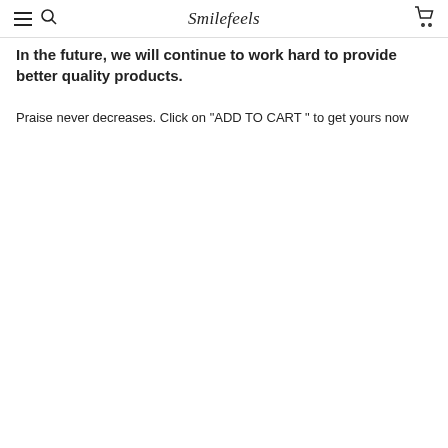Smilefeels
In the future, we will continue to work hard to provide better quality products.
Praise never decreases. Click on "ADD TO CART " to get yours now